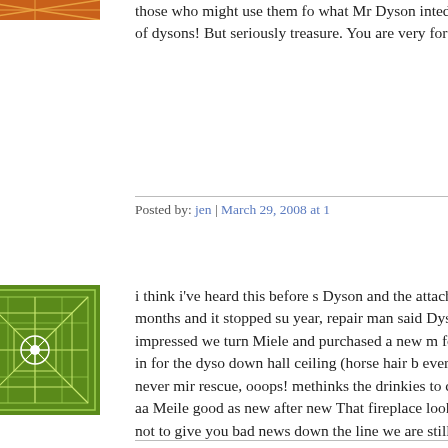[Figure (illustration): Avatar image with orange/yellow geometric pattern on reddish-orange background]
those who might use them for what Mr Dyson inteded them LOT of dysons! But seriously treasure. You are very fortuna
Posted by: jen | March 29, 2008 at 1
[Figure (illustration): Avatar image with green background featuring white geometric snowflake/mandala pattern]
i think i've heard this before s Dyson and the attachment ho few months and it stopped su year, repair man said Dysons butter,not! impressed we turn Miele and purchased a new m for trading you in for the dyso down hall ceiling (horse hair b everywhere urrgh!, never mir rescue, ooops! methinks the drinkies to calm me down, aa Meile good as new after new That fireplace looks FAB thou PS not to give you bad news down the line we are still exp